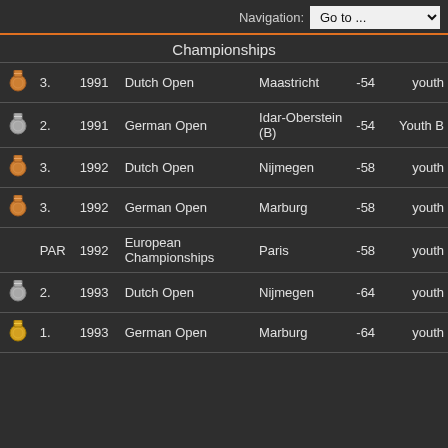Navigation: Go to ...
Championships
|  | Place | Year | Competition | City | Weight | Category |
| --- | --- | --- | --- | --- | --- | --- |
| bronze | 3. | 1991 | Dutch Open | Maastricht | -54 | youth |
| silver | 2. | 1991 | German Open | Idar-Oberstein (B) | -54 | Youth B |
| bronze | 3. | 1992 | Dutch Open | Nijmegen | -58 | youth |
| bronze | 3. | 1992 | German Open | Marburg | -58 | youth |
|  | PAR | 1992 | European Championships | Paris | -58 | youth |
| silver | 2. | 1993 | Dutch Open | Nijmegen | -64 | youth |
| gold | 1. | 1993 | German Open | Marburg | -64 | youth |